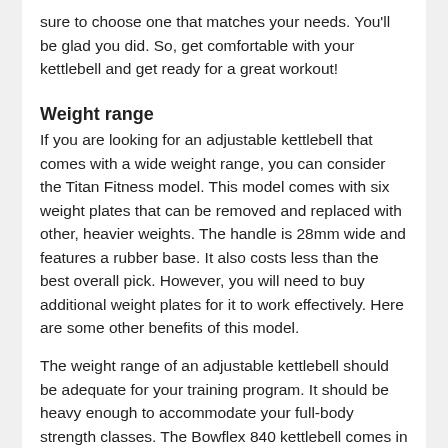sure to choose one that matches your needs. You'll be glad you did. So, get comfortable with your kettlebell and get ready for a great workout!
Weight range
If you are looking for an adjustable kettlebell that comes with a wide weight range, you can consider the Titan Fitness model. This model comes with six weight plates that can be removed and replaced with other, heavier weights. The handle is 28mm wide and features a rubber base. It also costs less than the best overall pick. However, you will need to buy additional weight plates for it to work effectively. Here are some other benefits of this model.
The weight range of an adjustable kettlebell should be adequate for your training program. It should be heavy enough to accommodate your full-body strength classes. The Bowflex 840 kettlebell comes in a range of eight to 40 pounds, while the JAXJOX Kettlebell Connect